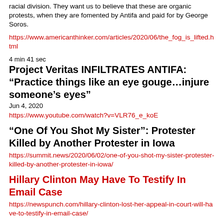racial division. They want us to believe that these are organic protests, when they are fomented by Antifa and paid for by George Soros.
https://www.americanthinker.com/articles/2020/06/the_fog_is_lifted.html
4 min 41 sec
Project Veritas INFILTRATES ANTIFA: “Practice things like an eye gouge…injure someone’s eyes”
Jun 4, 2020
https://www.youtube.com/watch?v=VLR76_e_koE
“One Of You Shot My Sister”: Protester Killed by Another Protester in Iowa
https://summit.news/2020/06/02/one-of-you-shot-my-sister-protester-killed-by-another-protester-in-iowa/
Hillary Clinton May Have To Testify In Email Case
https://newspunch.com/hillary-clinton-lost-her-appeal-in-court-will-have-to-testify-in-email-case/
Quote Of The Week
“Authoritarian Democratic leaders were eager to send law enforcement to arrest law abiding citizens at church, or in the parks. But, when it comes to violent protestors & looters, suddenly these same leaders are deciding it’s bad politics to